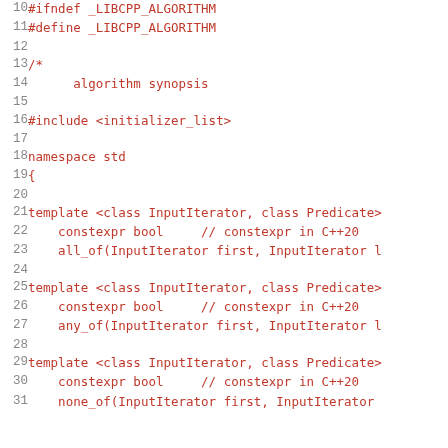Source code listing: C++ algorithm header synopsis (lines 10-31), showing #define, comments, namespace std, and template declarations for all_of, any_of, none_of